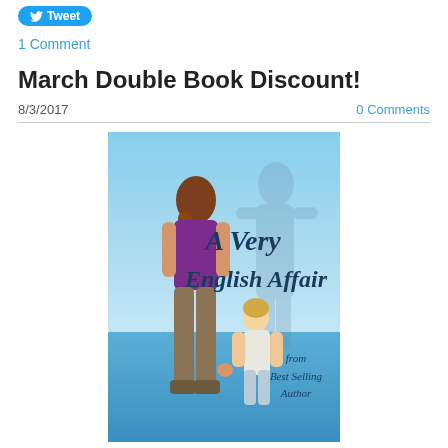[Figure (other): Twitter Tweet button (blue pill-shaped button with bird icon and 'Tweet' text)]
1 Comment
March Double Book Discount!
8/3/2017
0 Comments
[Figure (illustration): Book cover for 'A Very English Affair' showing a woman and child holding hands facing the sea, with cursive title text and 'from Best Selling Author' text. Light blue sky and ocean background with a faint male shadow figure.]